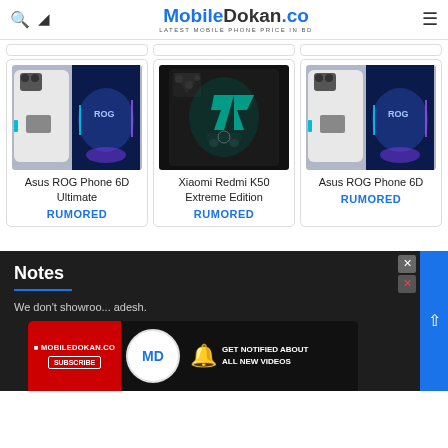MobileDokan.co — Latest Mobile Phone Price in BD
[Figure (photo): Asus ROG Phone 6D Ultimate product photo]
Asus ROG Phone 6D Ultimate
RUMORED
[Figure (photo): Xiaomi Redmi K50 Extreme Edition product photo]
Xiaomi Redmi K50 Extreme Edition
RUMORED
[Figure (photo): Asus ROG Phone 6D product photo]
Asus ROG Phone 6D
RUMORED
Notes
We don't showroo... adesh.
[Figure (screenshot): MobileDokan.co advertisement overlay with subscribe button and get notified about all new videos text]